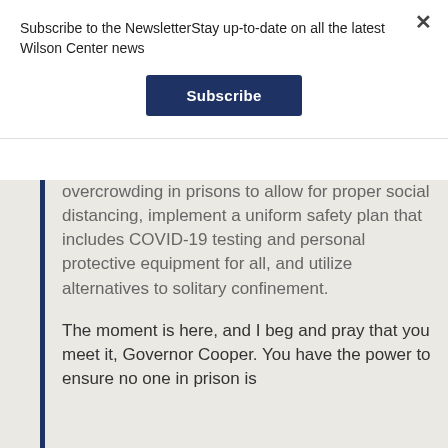Subscribe to the NewsletterStay up-to-date on all the latest Wilson Center news
Subscribe
overcrowding in prisons to allow for proper social distancing, implement a uniform safety plan that includes COVID-19 testing and personal protective equipment for all, and utilize alternatives to solitary confinement.
The moment is here, and I beg and pray that you meet it, Governor Cooper. You have the power to ensure no one in prison is